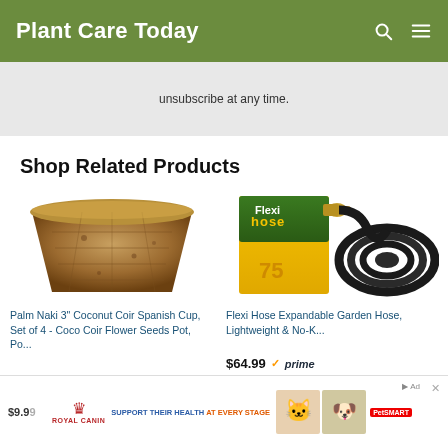Plant Care Today
unsubscribe at any time.
Shop Related Products
[Figure (photo): Coconut coir woven flower pot, brown textured basket-style planter]
Palm Naki 3" Coconut Coir Spanish Cup, Set of 4 - Coco Coir Flower Seeds Pot, Po...
[Figure (photo): Flexi Hose expandable garden hose in box with black coiled hose and brass fittings]
Flexi Hose Expandable Garden Hose, Lightweight & No-K...
$64.99 ✓prime
$9.99
[Figure (photo): Royal Canin advertisement banner - Support Their Health At Every Stage - PetSmart]